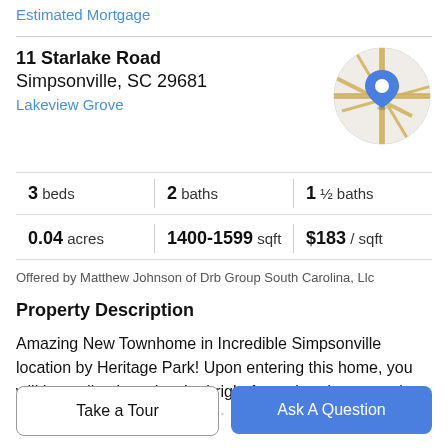Estimated Mortgage
11 Starlake Road
Simpsonville, SC 29681
Lakeview Grove
[Figure (map): Circular map thumbnail showing street map with blue location pin marker for 11 Starlake Road, Simpsonville, SC]
3 beds | 2 baths | 1 ½ baths
0.04 acres | 1400-1599 sqft | $183 / sqft
Offered by Matthew Johnson of Drb Group South Carolina, Llc
Property Description
Amazing New Townhome in Incredible Simpsonville location by Heritage Park! Upon entering this home, you will immediately notice the bright foyer that draws you into the open and family-friendly...